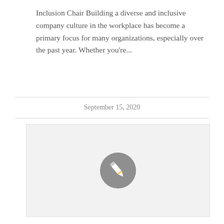Inclusion Chair Building a diverse and inclusive company culture in the workplace has become a primary focus for many organizations, especially over the past year. Whether you're...
September 15, 2020
[Figure (illustration): A light gray rectangular placeholder image with a gray circle containing a white pencil/edit icon in the center.]